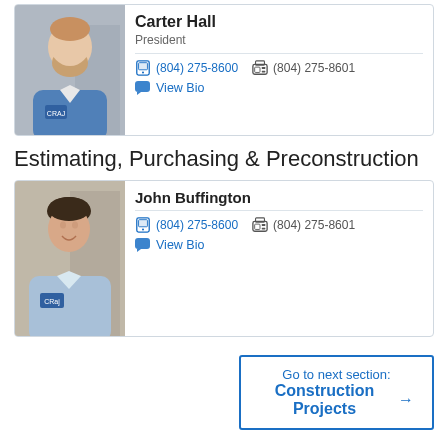[Figure (photo): Photo of Carter Hall, a man with a beard wearing a blue shirt, in a company office setting]
Carter Hall
President
(804) 275-8600  (804) 275-8601
View Bio
Estimating, Purchasing & Preconstruction
[Figure (photo): Photo of John Buffington, a smiling man in a light blue shirt, in a company office setting]
John Buffington
(804) 275-8600  (804) 275-8601
View Bio
Go to next section:
Construction Projects →